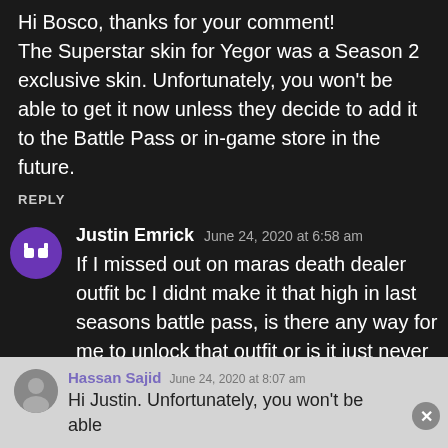Hi Bosco, thanks for your comment! The Superstar skin for Yegor was a Season 2 exclusive skin. Unfortunately, you won't be able to get it now unless they decide to add it to the Battle Pass or in-game store in the future.
REPLY
Justin Emrick   June 24, 2020 at 6:58 am
If I missed out on maras death dealer outfit bc I didnt make it that high in last seasons battle pass, is there any way for me to unlock that outfit or is it just never gonna happen now?
Hassan Sajid   June 24, 2020 at 8:07 am
Hi Justin. Unfortunately, you won't be able